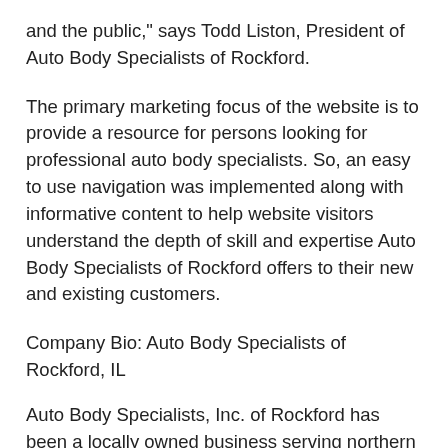and the public," says Todd Liston, President of Auto Body Specialists of Rockford.
The primary marketing focus of the website is to provide a resource for persons looking for professional auto body specialists. So, an easy to use navigation was implemented along with informative content to help website visitors understand the depth of skill and expertise Auto Body Specialists of Rockford offers to their new and existing customers.
Company Bio: Auto Body Specialists of Rockford, IL
Auto Body Specialists, Inc. of Rockford has been a locally owned business serving northern Illinois and southern Wisconsin since 1985 with a strong customer following and